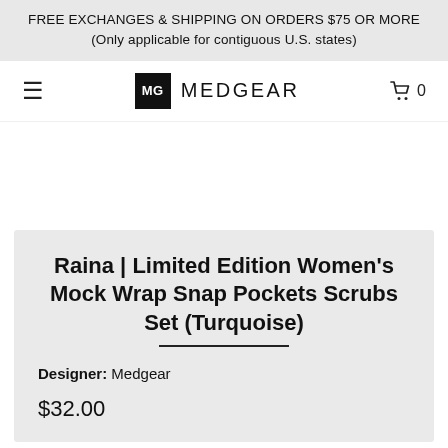FREE EXCHANGES & SHIPPING ON ORDERS $75 OR MORE (Only applicable for contiguous U.S. states)
[Figure (logo): MedGear logo with MG monogram in black square and MEDGEAR text, navigation bar with hamburger menu and cart icon showing 0 items]
Raina | Limited Edition Women's Mock Wrap Snap Pockets Scrubs Set (Turquoise)
Designer: Medgear
$32.00